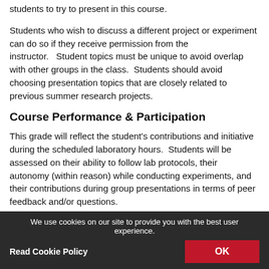students to try to present in this course.
Students who wish to discuss a different project or experiment can do so if they receive permission from the instructor.   Student topics must be unique to avoid overlap with other groups in the class.  Students should avoid choosing presentation topics that are closely related to previous summer research projects.
Course Performance & Participation
This grade will reflect the student's contributions and initiative during the scheduled laboratory hours.  Students will be assessed on their ability to follow lab protocols, their autonomy (within reason) while conducting experiments, and their contributions during group presentations in terms of peer feedback and/or questions.
We use cookies on our site to provide you with the best user experience.
Read Cookie Policy
OK